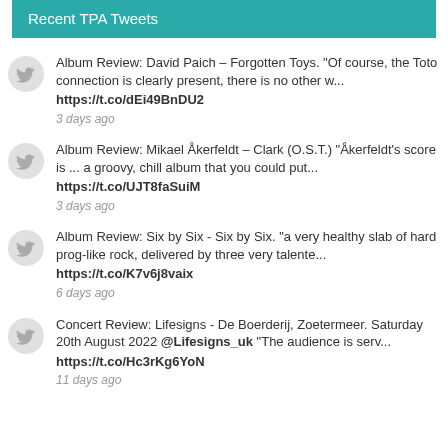Recent TPA Tweets
Album Review: David Paich – Forgotten Toys. "Of course, the Toto connection is clearly present, there is no other w... https://t.co/dEi49BnDU2 3 days ago
Album Review: Mikael Åkerfeldt – Clark (O.S.T.) "Åkerfeldt's score is ... a groovy, chill album that you could put... https://t.co/UJT8faSuiM 3 days ago
Album Review: Six by Six - Six by Six. "a very healthy slab of hard prog-like rock, delivered by three very talente... https://t.co/K7v6j8vaix 6 days ago
Concert Review: Lifesigns - De Boerderij, Zoetermeer. Saturday 20th August 2022 @Lifesigns_uk "The audience is serv... https://t.co/Hc3rKg6YoN 11 days ago